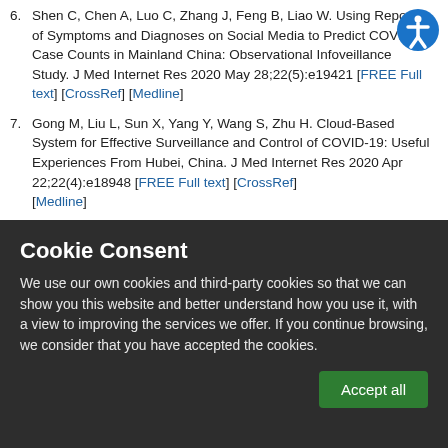6. Shen C, Chen A, Luo C, Zhang J, Feng B, Liao W. Using Reports of Symptoms and Diagnoses on Social Media to Predict COVID-19 Case Counts in Mainland China: Observational Infoveillance Study. J Med Internet Res 2020 May 28;22(5):e19421 [FREE Full text] [CrossRef] [Medline]
7. Gong M, Liu L, Sun X, Yang Y, Wang S, Zhu H. Cloud-Based System for Effective Surveillance and Control of COVID-19: Useful Experiences From Hubei, China. J Med Internet Res 2020 Apr 22;22(4):e18948 [FREE Full text] [CrossRef] [Medline]
8. Yasaka TM, Lehrich BM, Sahyouni R. Peer-to-Peer Contact Tracing: Development of a Privacy-Preserving Smartphone
Cookie Consent
We use our own cookies and third-party cookies so that we can show you this website and better understand how you use it, with a view to improving the services we offer. If you continue browsing, we consider that you have accepted the cookies.